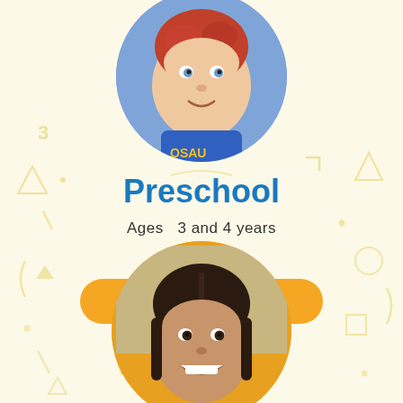[Figure (photo): Circular cropped photo of a young red-haired child smiling, wearing a blue dinosaur outfit]
Preschool
Ages  3 and 4 years
LEARN MORE
[Figure (photo): Circular cropped photo of a young girl with braided hair smiling, background is warm yellow]